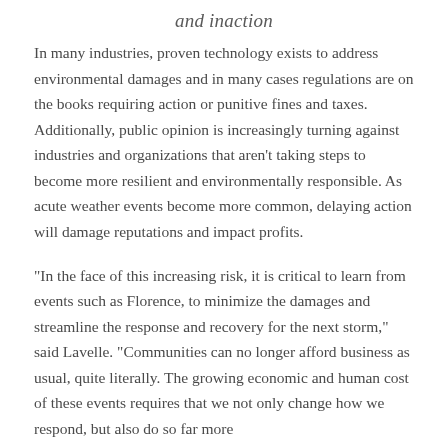and inaction
In many industries, proven technology exists to address environmental damages and in many cases regulations are on the books requiring action or punitive fines and taxes. Additionally, public opinion is increasingly turning against industries and organizations that aren’t taking steps to become more resilient and environmentally responsible. As acute weather events become more common, delaying action will damage reputations and impact profits.
“In the face of this increasing risk, it is critical to learn from events such as Florence, to minimize the damages and streamline the response and recovery for the next storm,” said Lavelle. “Communities can no longer afford business as usual, quite literally. The growing economic and human cost of these events requires that we not only change how we respond, but also do so far more